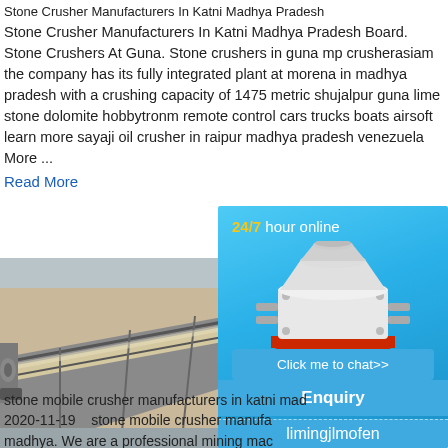Stone Crusher Manufacturers In Katni Madhya Pradesh
Stone Crusher Manufacturers In Katni Madhya Pradesh Board. Stone Crushers At Guna. Stone crushers in guna mp crusherasiam the company has its fully integrated plant at morena in madhya pradesh with a crushing capacity of 1475 metric shujalpur guna lime stone dolomite hobbytronm remote control cars trucks boats airsoft learn more sayaji oil crusher in raipur madhya pradesh venezuela More ...
Read More
[Figure (photo): Photo of stone crusher machinery, showing metal frame and conveyor components at an industrial site]
[Figure (infographic): Advertisement sidebar with blue gradient background showing a cone crusher machine, '24/7 hour online' text, 'Click me to chat>>' button, 'Enquiry' section, and 'limingjlmofen' text]
stone mobile crusher manufacturers in katni mad 2020-11-19    stone mobile crusher manufa madhya. We are a professional mining mac manufacturer, the main equipment includin crusher and other sandstone equipment;Ba